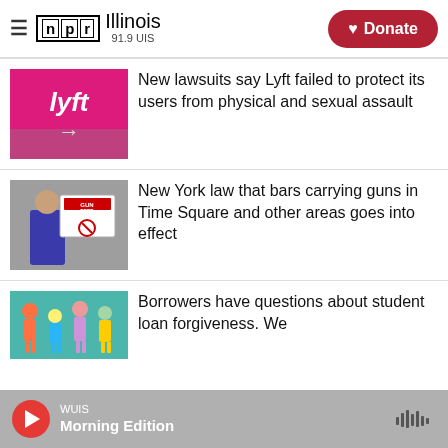NPR Illinois 91.9 UIS | Donate
[Figure (photo): Lyft pink sign with arrow and logo at an airport]
New lawsuits say Lyft failed to protect its users from physical and sexual assault
[Figure (photo): Person posting a Gun Free Zone sign on a wall]
New York law that bars carrying guns in Time Square and other areas goes into effect
[Figure (photo): Colorful illustration of people for student loan forgiveness article]
Borrowers have questions about student loan forgiveness. We
WUIS Morning Edition